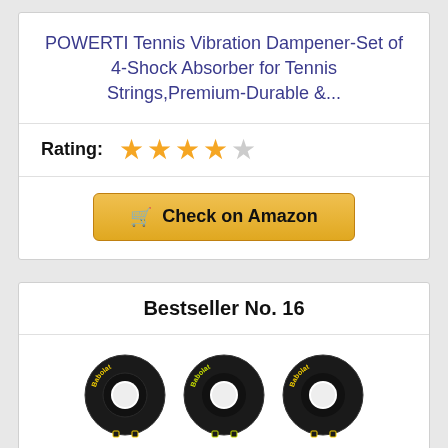POWERTI Tennis Vibration Dampener-Set of 4-Shock Absorber for Tennis Strings,Premium-Durable &...
Rating: ★★★★☆
Check on Amazon
Bestseller No. 16
[Figure (photo): Six Babolat tennis vibration dampeners arranged in two rows of three. Top row: three black dampeners with yellow Babolat logo. Bottom row: three red dampeners with red Babolat logo.]